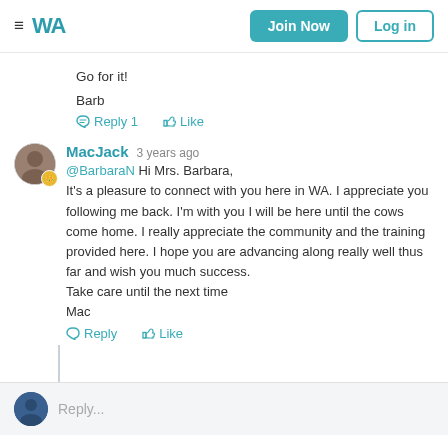WA — Join Now | Log in
Go for it!

Barb
Reply 1   Like
MacJack  3 years ago
@BarbaraN Hi Mrs. Barbara,
It's a pleasure to connect with you here in WA. I appreciate you following me back. I'm with you I will be here until the cows come home. I really appreciate the community and the training provided here. I hope you are advancing along really well thus far and wish you much success.
Take care until the next time
Mac
Reply   Like
Reply...